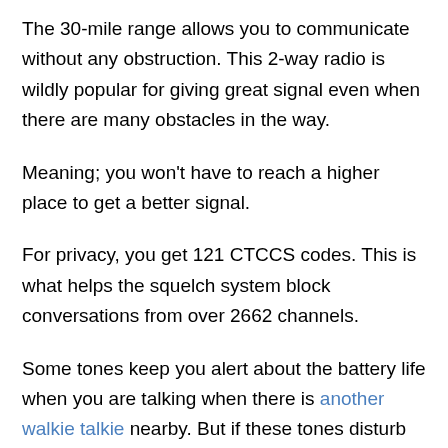The 30-mile range allows you to communicate without any obstruction. This 2-way radio is wildly popular for giving great signal even when there are many obstacles in the way.
Meaning; you won't have to reach a higher place to get a better signal.
For privacy, you get 121 CTCCS codes. This is what helps the squelch system block conversations from over 2662 channels.
Some tones keep you alert about the battery life when you are talking when there is another walkie talkie nearby. But if these tones disturb you, you can turn them off for the silent operation.